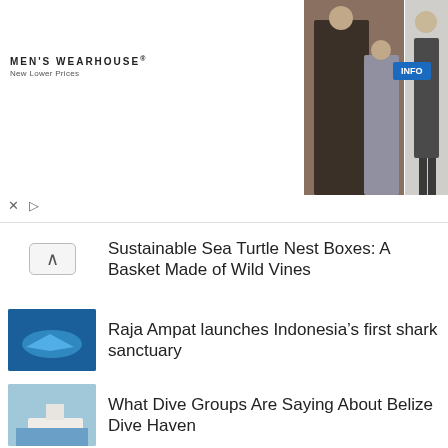[Figure (photo): Men's Wearhouse advertisement banner with logo, tagline 'New Lower Prices', wedding photo of couple and suited figure, INFO button]
Sustainable Sea Turtle Nest Boxes: A Basket Made of Wild Vines
Raja Ampat launches Indonesia’s first shark sanctuary
What Dive Groups Are Saying About Belize Dive Haven
Sharkskin Chillproof Titanium Review
Introducing the Nauticam NA-R3 for the Canon EOS R3